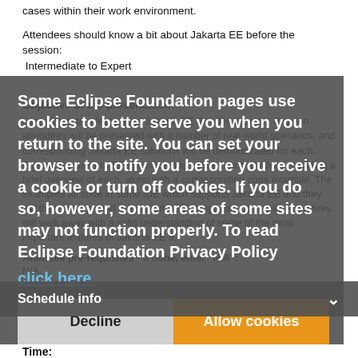cases within their work environment.
Attendees should know a bit about Jakarta EE before the session: Intermediate to Expert
Objective of the presentation:
Learn important features of Jakarta EE 9 in this session. Session attendees will be presented with a number of real-world scenarios, and corresponding Jakarta EE solutions will be demonstrated for each. Eight of the Jakarta EE specifications will be touched upon, providing a brief overview of each, along with a corresponding code example. The examples all code in some IDE which supports Jakarta EE and they will then be deployed to a Jakarta EE compatible container. Attendees will walk away with a solid understanding of some of the most important features of Jakarta EE 9.
Attendee pre-requisites - If none, enter "N/A":
N/A
Some Eclipse Foundation pages use cookies to better serve you when you return to the site. You can set your browser to notify you before you receive a cookie or turn off cookies. If you do so, however, some areas of some sites may not function properly. To read Eclipse Foundation Privacy Policy click here.
Decline
Allow cookies
Schedule info
Time: